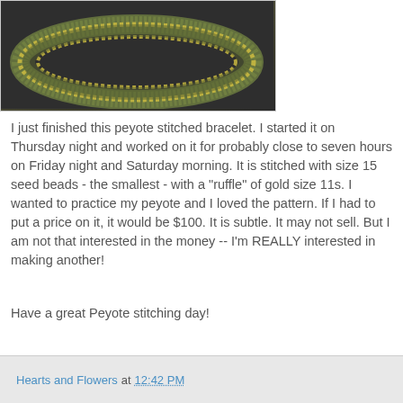[Figure (photo): Close-up photo of a peyote stitched bracelet on dark background, showing yellow/gold seed beads along the edges with green/teal peyote stitch in the center, curved shape]
I just finished this peyote stitched bracelet. I started it on Thursday night and worked on it for probably close to seven hours on Friday night and Saturday morning. It is stitched with size 15 seed beads - the smallest - with a "ruffle" of gold size 11s. I wanted to practice my peyote and I loved the pattern. If I had to put a price on it, it would be $100. It is subtle. It may not sell. But I am not that interested in the money -- I'm REALLY interested in making another!
Have a great Peyote stitching day!
Hearts and Flowers at 12:42 PM